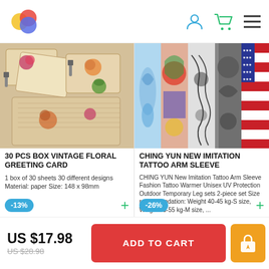App header with logo and navigation icons
[Figure (photo): 30 PCS Box Vintage Floral Greeting Card product image showing vintage paper cards with floral designs]
30 PCS BOX VINTAGE FLORAL GREETING CARD
1 box of 30 sheets 30 different designs Material: paper Size: 148 x 98mm
-13%
[Figure (photo): CHING YUN New Imitation Tattoo Arm Sleeve product showing multiple tattoo sleeve designs in various styles]
CHING YUN NEW IMITATION TATTOO ARM SLEEVE
CHING YUN New Imitation Tattoo Arm Sleeve Fashion Tattoo Warmer Unisex UV Protection Outdoor Temporary Leg sets 2-piece set Size recommendation: Weight 40-45 kg-S size, Weight 45-55 kg-M size, ...
-26%
US $17.98
US $28.98
ADD TO CART